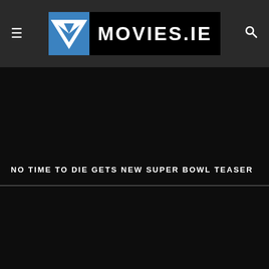MOVIES.IE
[Figure (screenshot): Dark movie promo image for 'No Time To Die' with text overlay]
NO TIME TO DIE GETS NEW SUPER BOWL TEASER
[Figure (screenshot): Second dark movie promo image, partial view]